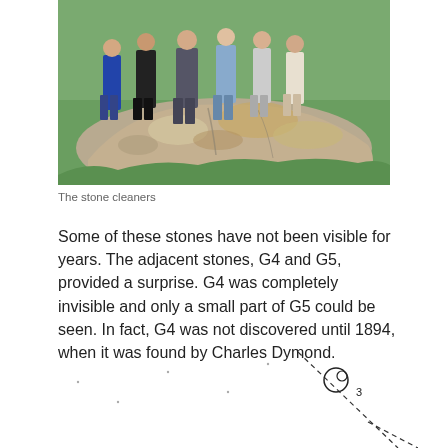[Figure (photo): Group of people standing behind a large lichen-covered rock in a grassy field. Stone cleaners at an archaeological site.]
The stone cleaners
Some of these stones have not been visible for years. The adjacent stones, G4 and G5, provided a surprise. G4 was completely invisible and only a small part of G5 could be seen. In fact, G4 was not discovered until 1894, when it was found by Charles Dymond.
[Figure (schematic): Partial archaeological diagram showing stones with dashed lines and a numbered marker (3), bottom-right of page.]